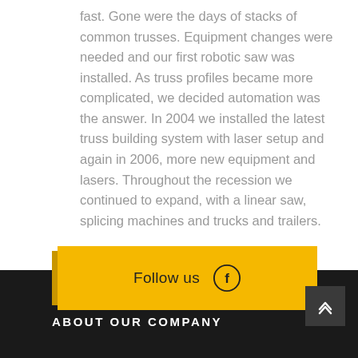fast. Gone were the days of stacks of common trusses. Equipment changes were needed and our first robotic saw was installed. As truss profiles became more complicated, we decided automation was the answer. In 2004 we installed the latest truss building system with laser setup and again in 2006, more new equipment and lasers. Throughout the recession we continued to expand, with a linear saw, splicing machines and trucks and trailers.
Most recently, in 2015, the fastest most accurate component saw on the market was installed.
[Figure (other): Yellow 'Follow us' button with Facebook icon circle]
ABOUT OUR COMPANY